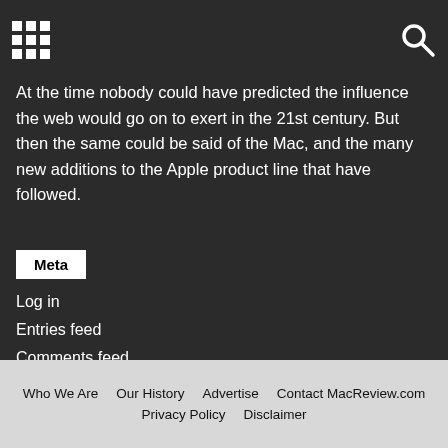[grid icon] [search icon]
At the time nobody could have predicted the influence the web would go on to exert in the 21st century. But then the same could be said of the Mac, and the many new additions to the Apple product line that have followed.
Meta
Log in
Entries feed
Comments feed
WordPress.org
Who We Are   Our History   Advertise   Contact MacReview.com   Privacy Policy   Disclaimer